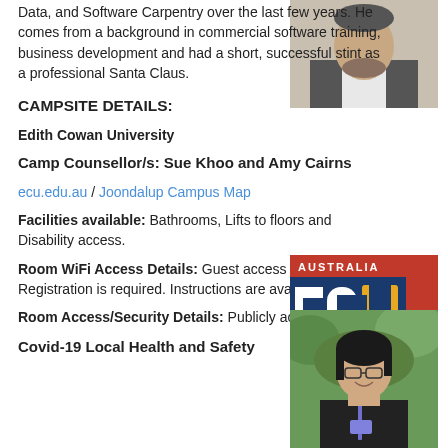Data, and Software Carpentry over the last few years. He comes from a background in commercial software training, business development and had a short, successful stint as a professional Santa Claus.
[Figure (photo): Headshot of a man in a grey blazer with a beard, smiling]
CAMPSITE DETAILS:
Edith Cowan University
Camp Counsellor/s: Sue Khoo and Amy Cairns
ecu.edu.au  /  Joondalup Campus Map
[Figure (logo): ECU Edith Cowan University logo - Australia, with red, blue, and gold colours]
Facilities available: Bathrooms, Lifts to floors and Disability access.
Room WiFi Access Details: Guest access available. Registration is required. Instructions are available HERE.
[Figure (photo): Photo of a woman with glasses and dark hair, smiling, wearing a lanyard]
Room Access/Security Details: Publicly accessible.
Covid-19 Local Health and Safety